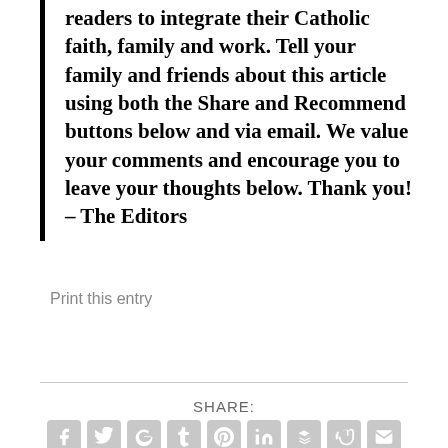readers to integrate their Catholic faith, family and work. Tell your family and friends about this article using both the Share and Recommend buttons below and via email. We value your comments and encourage you to leave your thoughts below. Thank you! – The Editors
Print this entry
SHARE:
[Figure (infographic): Row of 9 social share icon buttons (Facebook, Twitter, Google+, Tumblr, Pinterest, LinkedIn, Buffer, StumbleUpon, Email) in gray rounded squares, plus a print button below center]